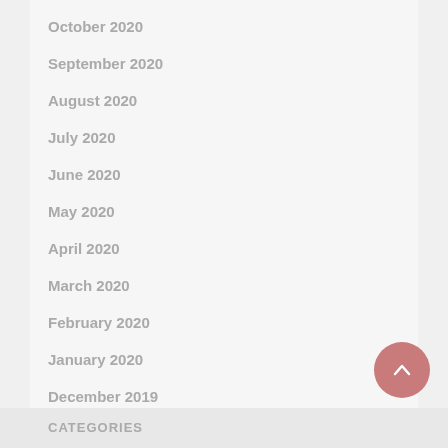October 2020
September 2020
August 2020
July 2020
June 2020
May 2020
April 2020
March 2020
February 2020
January 2020
December 2019
December 2018
CATEGORIES